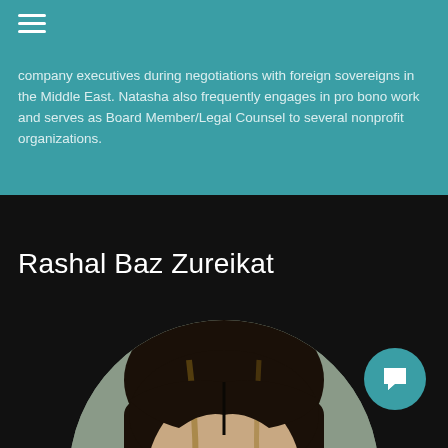company executives during negotiations with foreign sovereigns in the Middle East. Natasha also frequently engages in pro bono work and serves as Board Member/Legal Counsel to several nonprofit organizations.
Rashal Baz Zureikat
[Figure (photo): Circular portrait photo of Rashal Baz Zureikat, a woman with long dark hair, cropped to show head and upper face, on a grey background.]